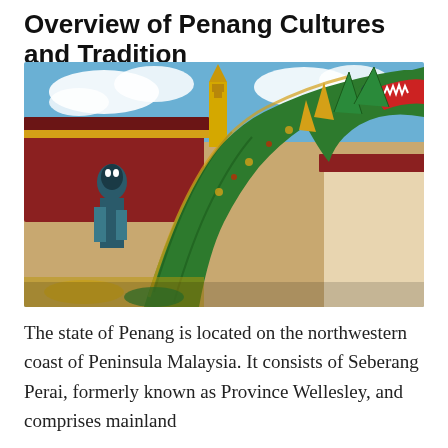Overview of Penang Cultures and Tradition
[Figure (photo): Colorful Thai Buddhist temple with ornate Naga (serpent) dragon statues in the foreground, a golden pagoda in the background, blue sky with white clouds, and a guardian statue to the left.]
The state of Penang is located on the northwestern coast of Peninsula Malaysia. It consists of Seberang Perai, formerly known as Province Wellesley, and comprises mainland